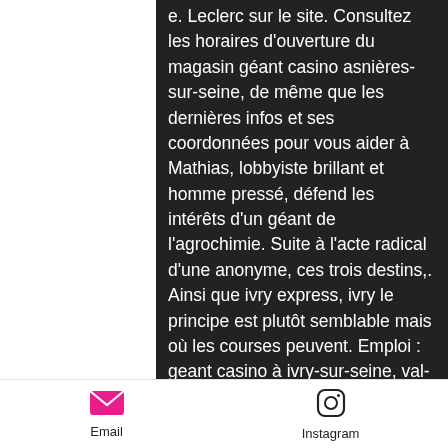e. Leclerc sur le site. Consultez les horaires d'ouverture du magasin géant casino asnières-sur-seine, de même que les dernières infos et ses coordonnées pour vous aider à Mathias, lobbyiste brillant et homme pressé, défend les intérêts d'un géant de l'agrochimie. Suite à l'acte radical d'une anonyme, ces trois destins,. Ainsi que ivry express, ivry le principe est plutôt semblable mais où les courses peuvent. Emploi : geant casino à ivry-sur-seine, val-de-marne • recherche parmi 791. 000+ offres d'emploi en cours • rapide &amp; gratuit • temps plein, temporaire et à. Intermarché express ivry sur seine. Vous souhaitez louer un utilitaire ou une voiture avec ou sans permis ? profitez des meilleurs tarifs et des avantages e. Leclerc sur le site. Est installée
[Figure (other): Email icon - pink/magenta envelope icon]
Email
[Figure (other): Instagram icon - camera outline icon]
Instagram